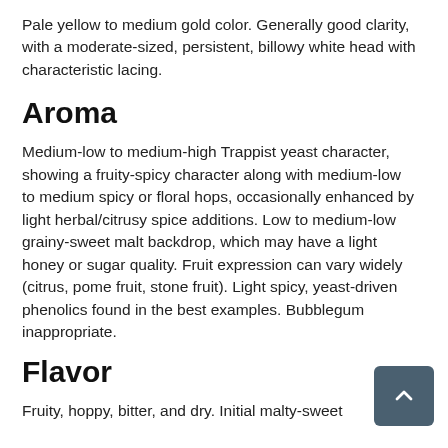Pale yellow to medium gold color. Generally good clarity, with a moderate-sized, persistent, billowy white head with characteristic lacing.
Aroma
Medium-low to medium-high Trappist yeast character, showing a fruity-spicy character along with medium-low to medium spicy or floral hops, occasionally enhanced by light herbal/citrusy spice additions. Low to medium-low grainy-sweet malt backdrop, which may have a light honey or sugar quality. Fruit expression can vary widely (citrus, pome fruit, stone fruit). Light spicy, yeast-driven phenolics found in the best examples. Bubblegum inappropriate.
Flavor
Fruity, hoppy, bitter, and dry. Initial malty-sweet